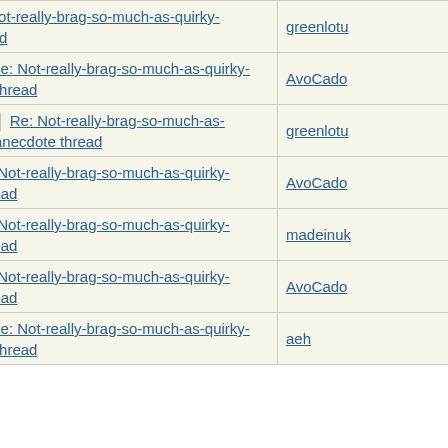| Subject | Author |
| --- | --- |
| Re: Not-really-brag-so-much-as-quirky-anecdote thread | greenlotu |
| Re: Not-really-brag-so-much-as-quirky-anecdote thread | AvoCado |
| Re: Not-really-brag-so-much-as-quirky-anecdote thread | greenlotu |
| Re: Not-really-brag-so-much-as-quirky-anecdote thread | AvoCado |
| Re: Not-really-brag-so-much-as-quirky-anecdote thread | madeinuk |
| Re: Not-really-brag-so-much-as-quirky-anecdote thread | AvoCado |
| Re: Not-really-brag-so-much-as-quirky-anecdote thread | aeh |